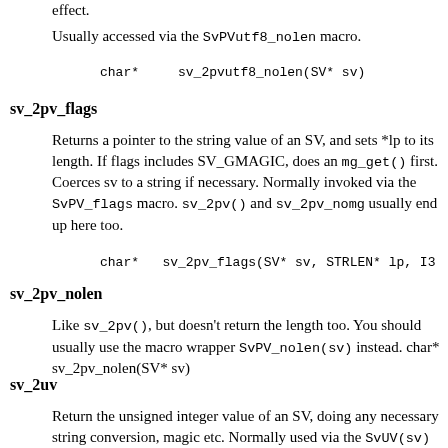effect.
Usually accessed via the SvPVutf8_nolen macro.
sv_2pv_flags
Returns a pointer to the string value of an SV, and sets *lp to its length. If flags includes SV_GMAGIC, does an mg_get() first. Coerces sv to a string if necessary. Normally invoked via the SvPV_flags macro. sv_2pv() and sv_2pv_nomg usually end up here too.
sv_2pv_nolen
Like sv_2pv(), but doesn't return the length too. You should usually use the macro wrapper SvPV_nolen(sv) instead. char* sv_2pv_nolen(SV* sv)
sv_2uv
Return the unsigned integer value of an SV, doing any necessary string conversion, magic etc. Normally used via the SvUV(sv) and SvUVx(sv) macros.